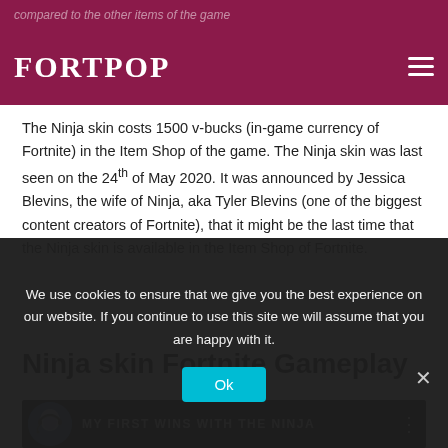FORTPOP — compared to the other items of the game
The Ninja skin costs 1500 v-bucks (in-game currency of Fortnite) in the Item Shop of the game. The Ninja skin was last seen on the 24th of May 2020. It was announced by Jessica Blevins, the wife of Ninja, aka Tyler Blevins (one of the biggest content creators of Fortnite), that it might be the last time that the Ninja skin is available in the Item Shop of Fortnite.
Ninja skin Fortnite Gameplay
[Figure (screenshot): Video thumbnail showing a person with a headset and text 'MY FIRST WINS WITH THE NINJA' on dark background]
We use cookies to ensure that we give you the best experience on our website. If you continue to use this site we will assume that you are happy with it.